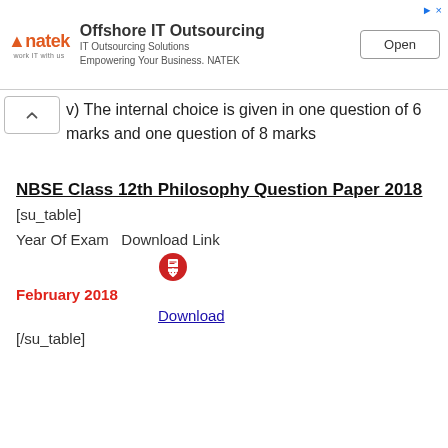[Figure (other): Advertisement banner for Natek IT Outsourcing with logo, text, and Open button]
v) The internal choice is given in one question of 6 marks and one question of 8 marks
NBSE Class 12th Philosophy Question Paper 2018
[su_table]
Year Of Exam   Download Link
[Figure (other): Red PDF download icon]
February 2018
Download
[/su_table]